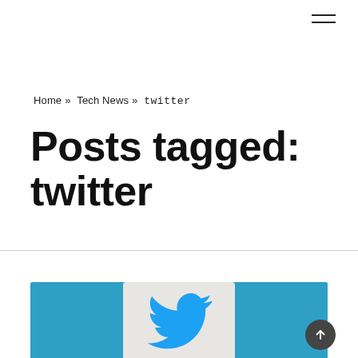☰ (hamburger menu icon)
Home » Tech News » twitter
Posts tagged: twitter
[Figure (photo): Close-up photo of the Twitter bird logo on a white card against a teal/blue background, partially cropped at the bottom of the page]
[Figure (other): Circular scroll-to-top button with upward arrow, dark grey background, positioned bottom right]